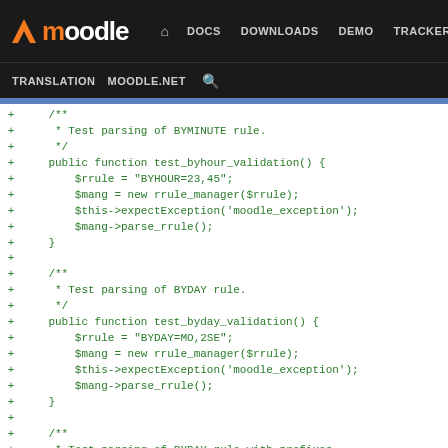[Figure (screenshot): Moodle developer documentation website header with navigation bar showing DOCS, DOWNLOADS, DEMO, TRACKER, DEV links and sub-navigation with TRANSLATION, MOODLE.NET, and search icon.]
Code diff showing PHP test functions: test_byhour_validation(), test_byday_validation(), and beginning of test_byday_with_prefix_validation() with BYMINUTE and BYDAY rule parsing tests using rrule_manager class.